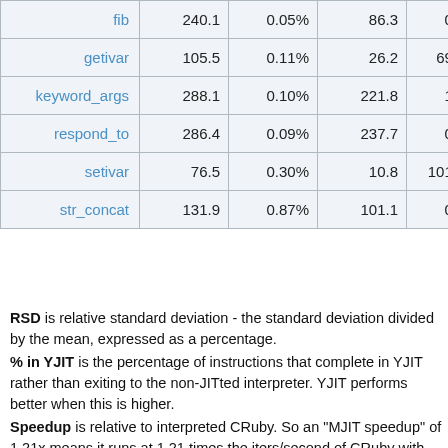|  | col1 | col2 | col3 | col4 | col5 |
| --- | --- | --- | --- | --- | --- |
| fib | 240.1 | 0.05% | 86.3 | 0.20% | 63. |
| getivar | 105.5 | 0.11% | 26.2 | 69.70% | 42. |
| keyword_args | 288.1 | 0.10% | 221.8 | 1.98% | 52. |
| respond_to | 286.4 | 0.09% | 237.7 | 0.51% | 198. |
| setivar | 76.5 | 0.30% | 10.8 | 101.41% | 53. |
| str_concat | 131.9 | 0.87% | 101.1 | 0.51% | 108. |
RSD is relative standard deviation - the standard deviation divided by the mean, expressed as a percentage.
% in YJIT is the percentage of instructions that complete in YJIT rather than exiting to the non-JITted interpreter. YJIT performs better when this is higher.
Speedup is relative to interpreted CRuby. So an "MJIT speedup" of 1.21x means it runs at 1.21 times the iters/second of CRuby with JIT disabled.